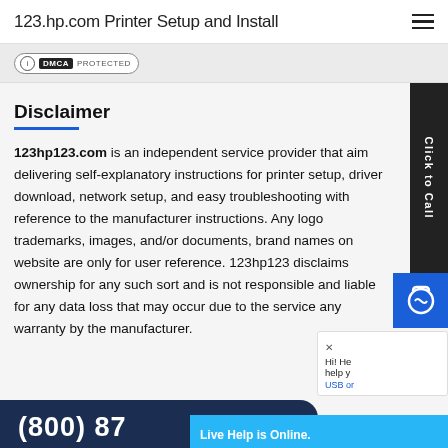123.hp.com Printer Setup and Install
[Figure (logo): DMCA Protected badge]
Disclaimer
123hp123.com is an independent service provider that aims delivering self-explanatory instructions for printer setup, driver download, network setup, and easy troubleshooting with reference to the manufacturer instructions. Any logo trademarks, images, and/or documents, brand names on website are only for user reference. 123hp123 disclaims ownership for any such sort and is not responsible and liable for any data loss that may occur due to the service any warranty by the manufacturer.
Click to Call
(800) 87
Live Help is Online.